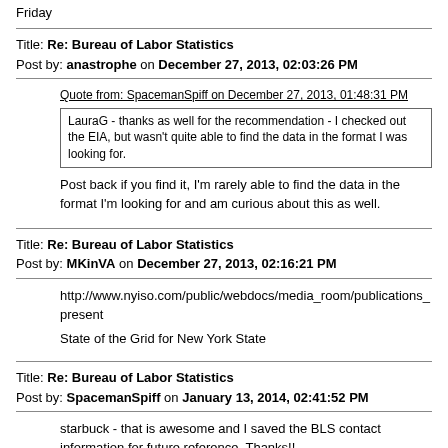Friday
Title: Re: Bureau of Labor Statistics
Post by: anastrophe on December 27, 2013, 02:03:26 PM
Quote from: SpacemanSpiff on December 27, 2013, 01:48:31 PM
LauraG - thanks as well for the recommendation - I checked out the EIA, but wasn't quite able to find the data in the format I was looking for.
Post back if you find it, I'm rarely able to find the data in the format I'm looking for and am curious about this as well.
Title: Re: Bureau of Labor Statistics
Post by: MKinVA on December 27, 2013, 02:16:21 PM
http://www.nyiso.com/public/webdocs/media_room/publications_present
State of the Grid for New York State
Title: Re: Bureau of Labor Statistics
Post by: SpacemanSpiff on January 13, 2014, 02:41:52 PM
starbuck - that is awesome and I saved the BLS contact information for future reference.  Thanks!!
anastrophe - unfortunately I was not able to find it in the format